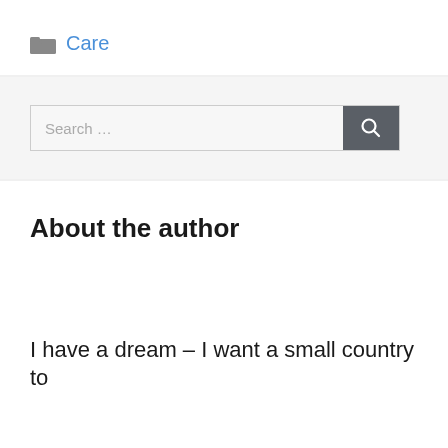Care
[Figure (screenshot): Search bar with text input field showing 'Search ...' placeholder and a dark grey search button with magnifying glass icon]
About the author
I have a dream – I want a small country to